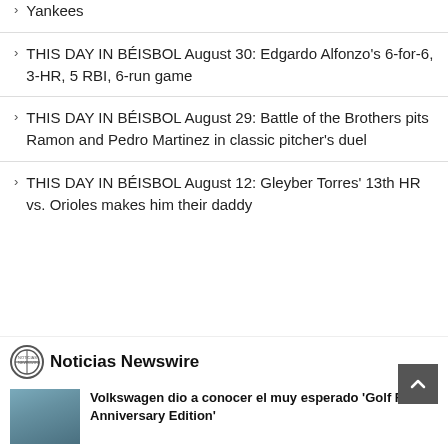Yankees
THIS DAY IN BÉISBOL August 30: Edgardo Alfonzo's 6-for-6, 3-HR, 5 RBI, 6-run game
THIS DAY IN BÉISBOL August 29: Battle of the Brothers pits Ramon and Pedro Martinez in classic pitcher's duel
THIS DAY IN BÉISBOL August 12: Gleyber Torres' 13th HR vs. Orioles makes him their daddy
Noticias Newswire
Volkswagen dio a conocer el muy esperado 'Golf R 20th Anniversary Edition'